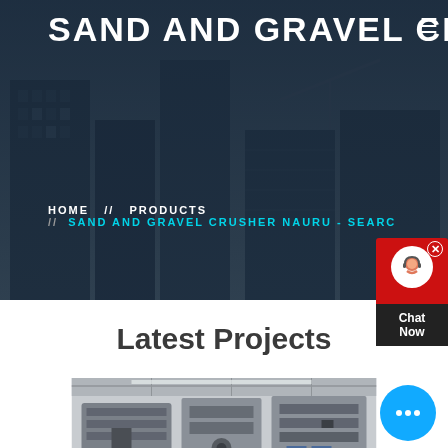[Figure (photo): Hero banner with construction site / city building background, dark overlay. Large bold white uppercase text reading SAND AND GRAVEL CRUSHER NA (truncated). Hamburger menu icon top right.]
SAND AND GRAVEL CRUSHER NA
HOME // PRODUCTS // SAND AND GRAVEL CRUSHER NAURU - SEARC
[Figure (illustration): Chat Now widget on right side: red top section with white face/headset icon and X close button, dark bottom with Chat Now text]
Latest Projects
[Figure (illustration): Blue circular floating chat button with three dots (...)]
[Figure (photo): Industrial machinery / sand and gravel crusher equipment photographed inside a plant facility, showing conveyor belts, metal frames, and industrial processing equipment]